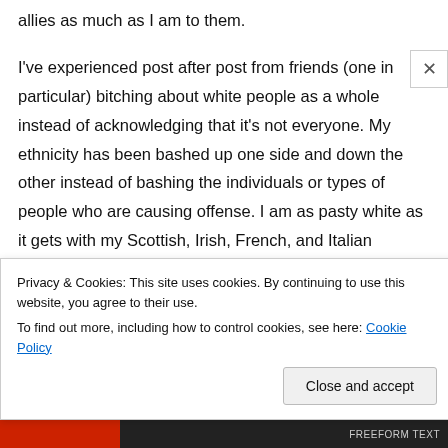allies as much as I am to them.
I've experienced post after post from friends (one in particular) bitching about white people as a whole instead of acknowledging that it's not everyone. My ethnicity has been bashed up one side and down the other instead of bashing the individuals or types of people who are causing offense. I am as pasty white as it gets with my Scottish, Irish, French, and Italian ancestry and I love where I come from; just as much as I love that each of my friends comes from where they
Privacy & Cookies: This site uses cookies. By continuing to use this website, you agree to their use.
To find out more, including how to control cookies, see here: Cookie Policy
Close and accept